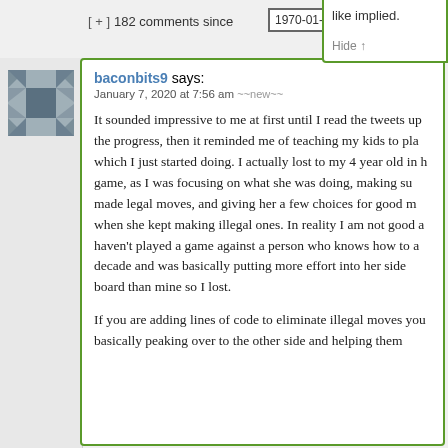[ + ]  182 comments since  1970-01-01 00:0(0)
like implied.

Hide ↑
baconbits9 says:
January 7, 2020 at 7:56 am ~~new~~

It sounded impressive to me at first until I read the tweets up the progress, then it reminded me of teaching my kids to play which I just started doing. I actually lost to my 4 year old in h game, as I was focusing on what she was doing, making su made legal moves, and giving her a few choices for good m when she kept making illegal ones. In reality I am not good a haven't played a game against a person who knows how to a decade and was basically putting more effort into her side board than mine so I lost.

If you are adding lines of code to eliminate illegal moves you basically peaking over to the other side and helping them